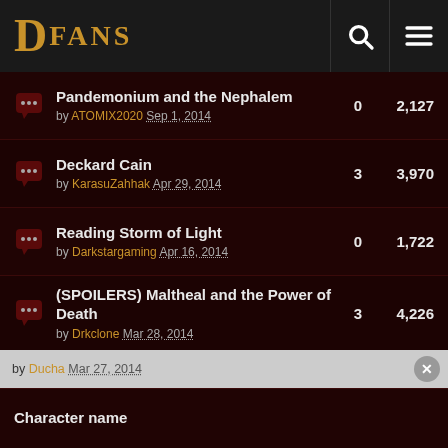DFANS
Pandemonium and the Nephalem by ATOMIX2020 Sep 1, 2014 | 0 replies | 2,127 views
Deckard Cain by KarasuZahhak Apr 29, 2014 | 3 replies | 3,970 views
Reading Storm of Light by Darkstargaming Apr 16, 2014 | 0 replies | 1,722 views
(SPOILERS) Maltheal and the Power of Death by Drkclone Mar 28, 2014 | 3 replies | 4,226 views
Quick question about Malthael by Valeazar Mar 26, 2014 | 3 replies | 2,573 views
[SPOILERS] RoS isn't about Malthael, it's about us, the Nephalem. by Ducha Mar 27, 2014 | 7 replies | 7,998 views
Character name